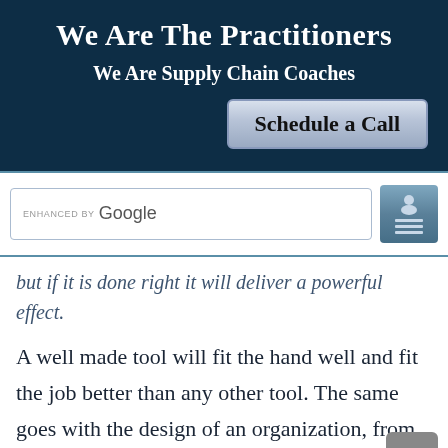We Are The Practitioners
We Are Supply Chain Coaches
[Figure (screenshot): Schedule a Call button with blue-grey gradient styling]
[Figure (screenshot): Google search bar with enhanced by Google label and user/menu icon button]
but if it is done right it will deliver a powerful effect.
A well made tool will fit the hand well and fit the job better than any other tool. The same goes with the design of an organization, from the smallest